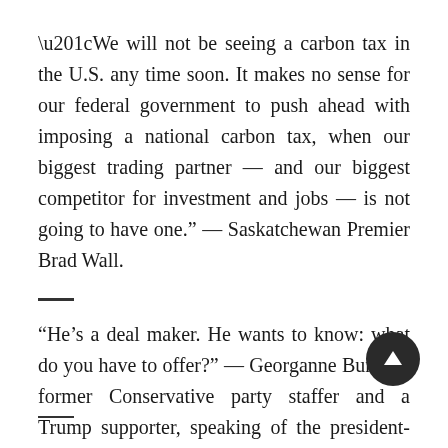“We will not be seeing a carbon tax in the U.S. any time soon. It makes no sense for our federal government to push ahead with imposing a national carbon tax, when our biggest trading partner — and our biggest competitor for investment and jobs — is not going to have one.” — Saskatchewan Premier Brad Wall.
“He’s a deal maker. He wants to know: what do you have to offer?” — Georganne Burke, a former Conservative party staffer and a Trump supporter, speaking of the president-elect.